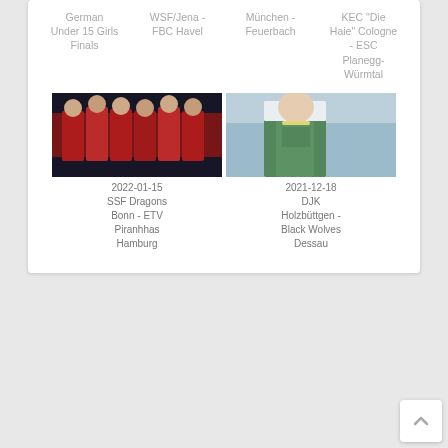German Under 15 Girls Finals
WSF/Jena - FBC Havel
München - Feuerbach
KEC "Die Haie" Cologne - ESC Planegg-Würmtal
[Figure (photo): Group of players in red jerseys celebrating, indoor sports hall, 2022-01-15 SSF Dragons Bonn - ETV Piranhhas Hamburg]
[Figure (photo): Single player in green and white jersey with yellow armband, indoor sports hall, 2021-12-18 DJK Holzbüttgen - Black Wolves Dessau]
2022-01-15
SSF Dragons Bonn - ETV Piranhhas Hamburg
2021-12-18
DJK Holzbüttgen - Black Wolves Dessau